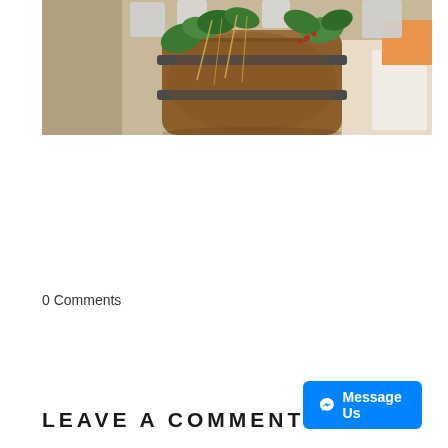[Figure (photo): A wooden barrel decorated with ivy leaves and raffia, with large metal letter decorations spelling CHEERS in the background, and white folding chairs visible to the right.]
[Figure (other): Twitter Tweet button with blue background and bird icon]
0 Comments
LEAVE A COMMENT
[Figure (other): Facebook Messenger Message Us button]